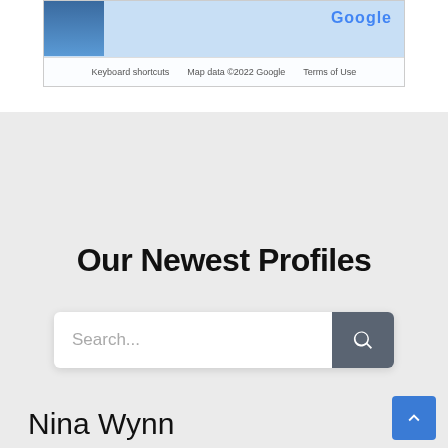[Figure (screenshot): Google Maps strip showing a map thumbnail with a photo, Google label, and footer bar reading: Keyboard shortcuts | Map data ©2022 Google | Terms of Use]
Our Newest Profiles
[Figure (screenshot): Search bar with placeholder text 'Search...' and a dark gray search button with magnifying glass icon]
Nina Wynn
Jewelry store
Denver, Colorado
GOOD FOR THE PLANET | MADE FOR THE SOUL